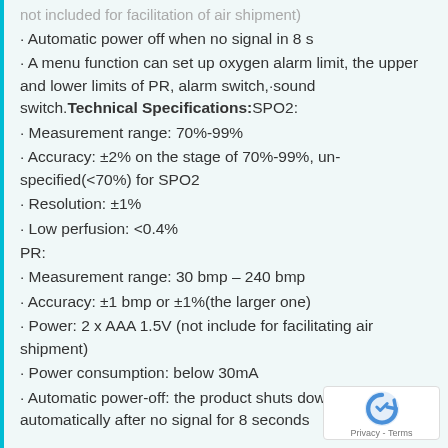not included for facilitation of air shipment)
· Automatic power off when no signal in 8 s
· A menu function can set up oxygen alarm limit, the upper and lower limits of PR, alarm switch,·sound switch.
Technical Specifications: SPO2:
• Measurement range: 70%-99%
• Accuracy: ±2% on the stage of 70%-99%, unspecified(<70%) for SPO2
• Resolution: ±1%
• Low perfusion: <0.4%
PR:
• Measurement range: 30 bmp – 240 bmp
• Accuracy: ±1 bmp or ±1%(the larger one)
• Power: 2 x AAA 1.5V (not include for facilitating air shipment)
• Power consumption: below 30mA
• Automatic power-off: the product shuts down automatically after no signal for 8 seconds